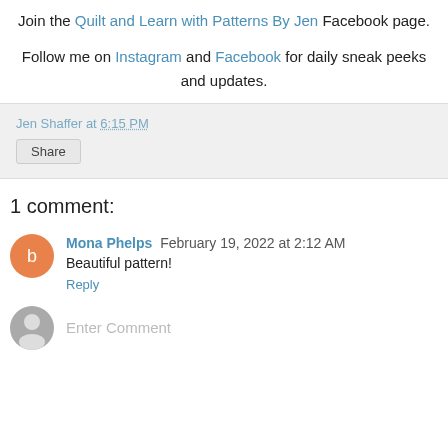Join the Quilt and Learn with Patterns By Jen Facebook page.
Follow me on Instagram and Facebook for daily sneak peeks and updates.
Jen Shaffer at 6:15 PM
Share
1 comment:
Mona Phelps February 19, 2022 at 2:12 AM
Beautiful pattern!
Reply
Enter Comment